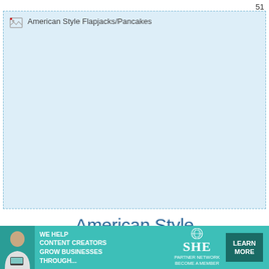51
[Figure (photo): Broken/loading image placeholder for American Style Flapjacks/Pancakes with light blue background]
American Style Flapjacks/Pancakes
★★★★☆ (20286)
[Figure (infographic): SHE Partner Network advertisement banner: 'We help content creators grow businesses through...' with a Learn More button]